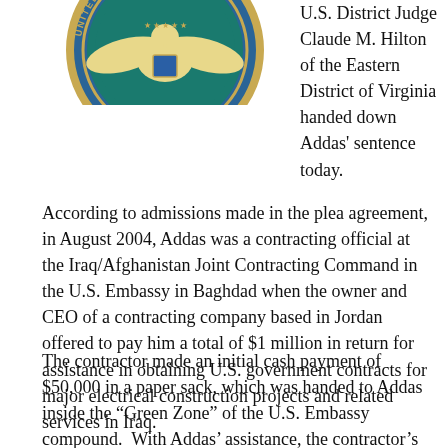[Figure (logo): Partial view of the United States government seal (eagle and border text visible)]
U.S. District Judge Claude M. Hilton of the Eastern District of Virginia handed down Addas' sentence today.
According to admissions made in the plea agreement, in August 2004, Addas was a contracting official at the Iraq/Afghanistan Joint Contracting Command in the U.S. Embassy in Baghdad when the owner and CEO of a contracting company based in Jordan offered to pay him a total of $1 million in return for assistance in obtaining U.S. government contracts for major electrical construction projects and related services in Iraq.
The contractor made an initial cash payment of $50,000 in a paper sack, which was handed to Addas inside the “Green Zone” of the U.S. Embassy compound.  With Addas’ assistance, the contractor’s companies subsequently received at least 15 contracts, with a total